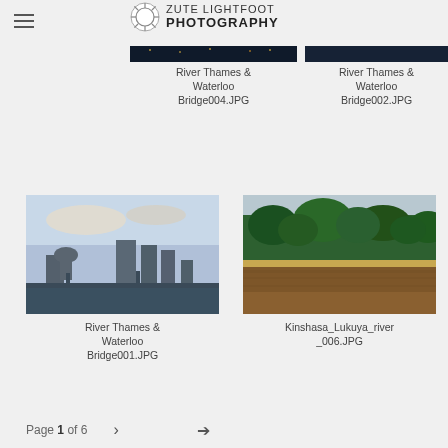ZUTE LIGHTFOOT PHOTOGRAPHY
[Figure (photo): Aerial view of River Thames and Waterloo Bridge at night/dusk with city lights]
River Thames & Waterloo Bridge004.JPG
[Figure (photo): Aerial view of River Thames and Waterloo Bridge]
River Thames & Waterloo Bridge002.JPG
[Figure (photo): River Thames with Waterloo Bridge and London skyline at dusk showing St Paul's Cathedral and modern skyscrapers]
River Thames & Waterloo Bridge001.JPG
[Figure (photo): Kinshasa Lukuya river with lush green tropical vegetation and brown river water]
Kinshasa_Lukuya_river_006.JPG
Page 1 of 6